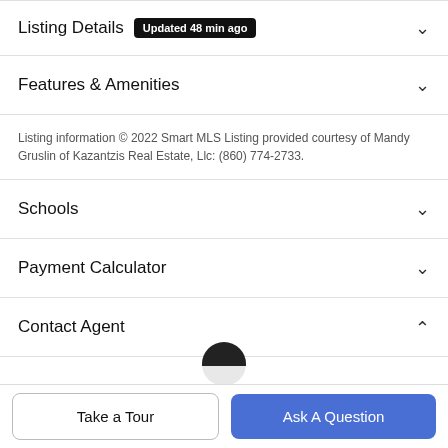Listing Details Updated 48 min ago
Features & Amenities
Listing information © 2022 Smart MLS Listing provided courtesy of Mandy Gruslin of Kazantzis Real Estate, Llc: (860) 774-2733.
Schools
Payment Calculator
Contact Agent
Take a Tour
Ask A Question